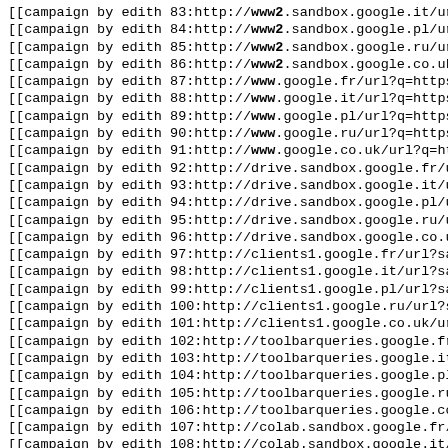[[campaign by edith 83:http://www2.sandbox.google.it/url?sa
[[campaign by edith 84:http://www2.sandbox.google.pl/url?sa
[[campaign by edith 85:http://www2.sandbox.google.ru/url?sa
[[campaign by edith 86:http://www2.sandbox.google.co.uk/url
[[campaign by edith 87:http://www.google.fr/url?q=https%3A%
[[campaign by edith 88:http://www.google.it/url?q=https%3A%
[[campaign by edith 89:http://www.google.pl/url?q=https%3A%
[[campaign by edith 90:http://www.google.ru/url?q=https%3A%
[[campaign by edith 91:http://www.google.co.uk/url?q=https%
[[campaign by edith 92:http://drive.sandbox.google.fr/url?s
[[campaign by edith 93:http://drive.sandbox.google.it/url?s
[[campaign by edith 94:http://drive.sandbox.google.pl/url?s
[[campaign by edith 95:http://drive.sandbox.google.ru/url?s
[[campaign by edith 96:http://drive.sandbox.google.co.uk/ur
[[campaign by edith 97:http://clients1.google.fr/url?sa=t&u
[[campaign by edith 98:http://clients1.google.it/url?sa=t&u
[[campaign by edith 99:http://clients1.google.pl/url?sa=t&u
[[campaign by edith 100:http://clients1.google.ru/url?sa=t&
[[campaign by edith 101:http://clients1.google.co.uk/url?sa
[[campaign by edith 102:http://toolbarqueries.google.fr/url
[[campaign by edith 103:http://toolbarqueries.google.it/url
[[campaign by edith 104:http://toolbarqueries.google.pl/url
[[campaign by edith 105:http://toolbarqueries.google.ru/url
[[campaign by edith 106:http://toolbarqueries.google.co.uk/
[[campaign by edith 107:http://colab.sandbox.google.fr/url?
[[campaign by edith 108:http://colab.sandbox.google.it/url?
[[campaign by edith 109:http://colab.sandbox.google.pl/url?
[[campaign by edith 110:http://colab.sandbox.google.ru/url?
[[campaign by edith 111:http://colab.sandbox.google.co.uk/u
[[campaign by edith 112:http://fonts.sandbox.google.fr/ur